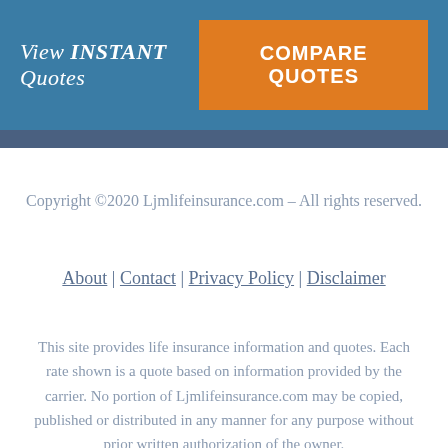View INSTANT Quotes | COMPARE QUOTES
Copyright ©2020 Ljmlifeinsurance.com – All rights reserved.
About | Contact | Privacy Policy | Disclaimer
This site provides life insurance information and quotes. Each rate shown is a quote based on information provided by the carrier. No portion of Ljmlifeinsurance.com may be copied, published or distributed in any manner for any purpose without prior written authorization of the owner.